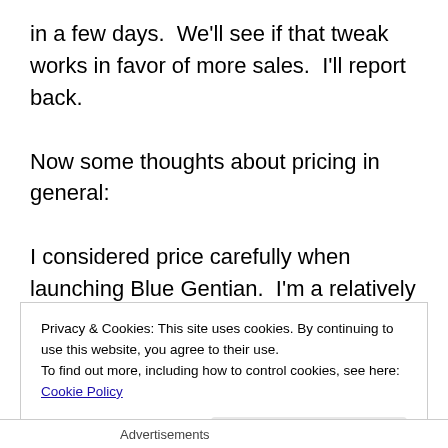in a few days.  We'll see if that tweak works in favor of more sales.  I'll report back.

Now some thoughts about pricing in general:

I considered price carefully when launching Blue Gentian.  I'm a relatively unknown author, and therefore my works will probably not sell at the same price as an established author.  I have to be real about it.  That being said, price also implies quality.  If you're attempting to give your book away at $0.99 when it's not sale time, it leaves me
Privacy & Cookies: This site uses cookies. By continuing to use this website, you agree to their use.
To find out more, including how to control cookies, see here: Cookie Policy
Close and accept
Advertisements